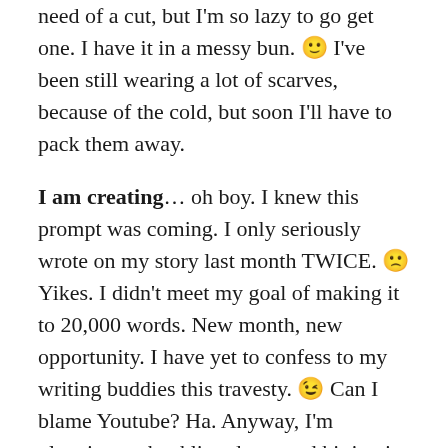need of a cut, but I'm so lazy to go get one. I have it in a messy bun. 🙂 I've been still wearing a lot of scarves, because of the cold, but soon I'll have to pack them away.
I am creating... oh boy. I knew this prompt was coming. I only seriously wrote on my story last month TWICE. 🙁 Yikes. I didn't meet my goal of making it to 20,000 words. New month, new opportunity. I have yet to confess to my writing buddies this travesty. 😉 Can I blame Youtube? Ha. Anyway, I'm planning on buckling down and hitting it this month and my reward will be this sticker for my laptop. Isn't this darling? I want it SO badly. Come on, Amy. Wrestle with the work. Wrangle the words. Sit in the seat.
I am watching... well, besides those things above, I